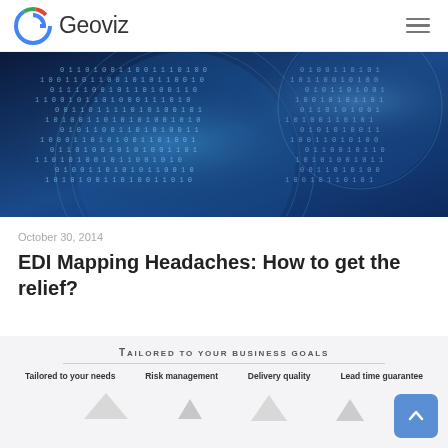Geoviz
[Figure (photo): Blue digital globe with binary code (0s and 1s) overlaid, technology/data visualization concept image]
October 30, 2014
EDI Mapping Headaches: How to get the relief?
Tailored to your business goals
Tailored to your needs   Risk management   Delivery quality   Lead time guarantee